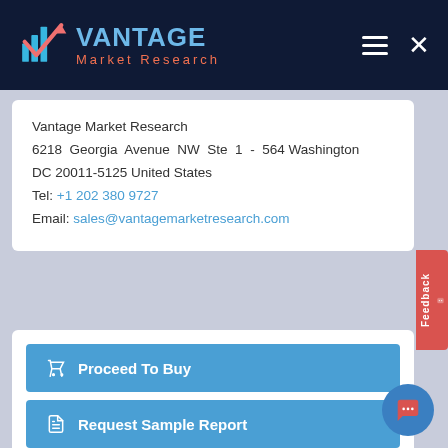Vantage Market Research
Vantage Market Research
6218 Georgia Avenue NW Ste 1 - 564 Washington
DC 20011-5125 United States
Tel: +1 202 380 9727
Email: sales@vantagemarketresearch.com
Proceed To Buy
Request Sample Report